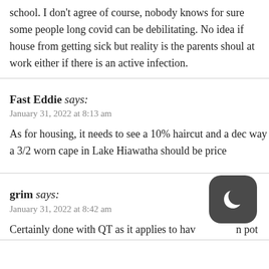school. I don't agree of course, nobody knows for sure some people long covid can be debilitating. No idea if house from getting sick but reality is the parents shoul at work either if there is an active infection.
Fast Eddie says:
January 31, 2022 at 8:13 am
As for housing, it needs to see a 10% haircut and a dec way a 3/2 worn cape in Lake Hiawatha should be price
grim says:
January 31, 2022 at 8:42 am
Certainly done with QT as it applies to hav n pot
[Figure (illustration): Dark mode toggle button icon — a crescent moon symbol on a dark rounded-square button]